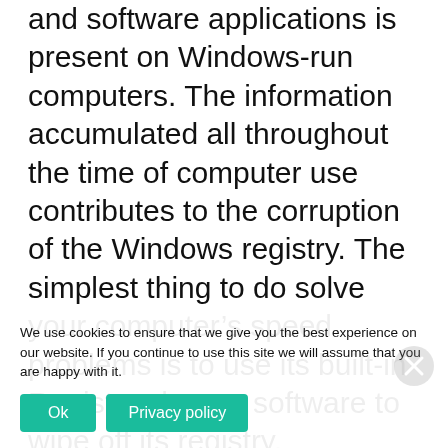and software applications is present on Windows-run computers. The information accumulated all throughout the time of computer use contributes to the corruption of the Windows registry. The simplest thing to do solve your computer's speed problems is to use its built-in Registry cleaner software to wipe off its registry. Unfortunately, Windows' registry cleaner is not always efficient in repairing and cleaning registry and does not automatically sweep off undesired programs. Besides, your computer might encounter problems that the registry cleaner software is incapable of solving. Due care must be administered when repairing or scanning Windows registry since it is su delicate and complex database. Many computer users turn to third-party registry
We use cookies to ensure that we give you the best experience on our website. If you continue to use this site we will assume that you are happy with it.